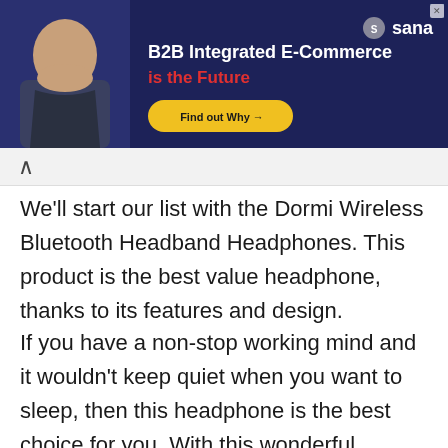[Figure (screenshot): Advertisement banner for Sana B2B Integrated E-Commerce with dark navy background, person on left, text 'B2B Integrated E-Commerce is the Future' and a 'Find out Why' button]
We'll start our list with the Dormi Wireless Bluetooth Headband Headphones. This product is the best value headphone, thanks to its features and design.
If you have a non-stop working mind and it wouldn't keep quiet when you want to sleep, then this headphone is the best choice for you. With this wonderful product from Dormi, you can listen to podcasts, white noise, music, and meditation music.